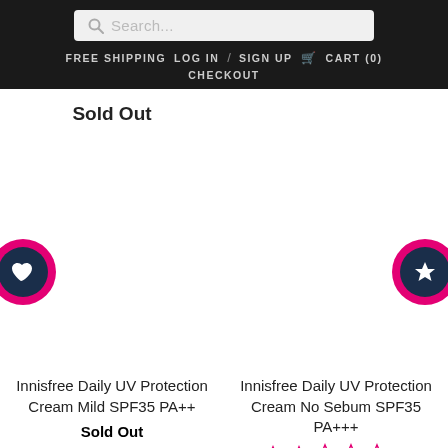Search... FREE SHIPPING LOG IN / SIGN UP CART (0) CHECKOUT
Sold Out
[Figure (screenshot): Two circular navigation buttons: left button has a heart icon on dark teal circle with pink border; right button has a star icon on dark teal circle with pink border]
Innisfree Daily UV Protection Cream Mild SPF35 PA++
Sold Out
Innisfree Daily UV Protection Cream No Sebum SPF35 PA+++
★★☆☆☆ (1)